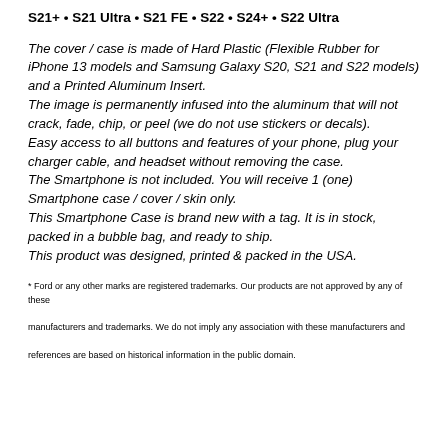S21+ • S21 Ultra • S21 FE • S22 • S24+ • S22 Ultra
The cover / case is made of Hard Plastic (Flexible Rubber for iPhone 13 models and Samsung Galaxy S20, S21 and S22 models) and a Printed Aluminum Insert.
The image is permanently infused into the aluminum that will not crack, fade, chip, or peel (we do not use stickers or decals).
Easy access to all buttons and features of your phone, plug your charger cable, and headset without removing the case.
The Smartphone is not included. You will receive 1 (one) Smartphone case / cover / skin only.
This Smartphone Case is brand new with a tag. It is in stock, packed in a bubble bag, and ready to ship.
This product was designed, printed & packed in the USA.
* Ford or any other marks are registered trademarks. Our products are not approved by any of these manufacturers and trademarks. We do not imply any association with these manufacturers and references are based on historical information in the public domain.